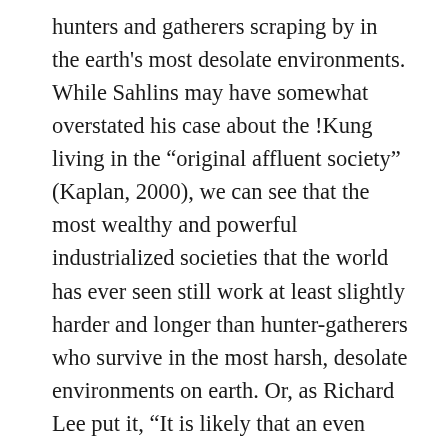hunters and gatherers scraping by in the earth's most desolate environments. While Sahlins may have somewhat overstated his case about the !Kung living in the “original affluent society” (Kaplan, 2000), we can see that the most wealthy and powerful industrialized societies that the world has ever seen still work at least slightly harder and longer than hunter-gatherers who survive in the most harsh, desolate environments on earth. Or, as Richard Lee put it, “It is likely that an even more substantial subsistence base would have been characteristic of these hunters and gatherers in the past, when they had the pick of African habitats to choose from.”